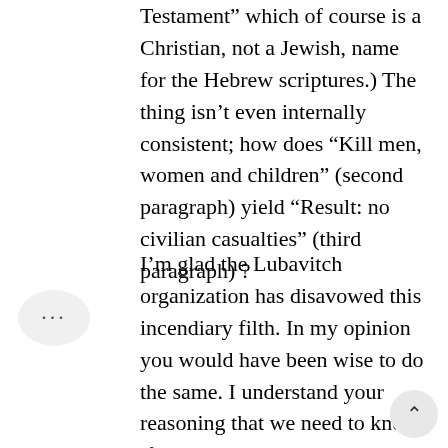Testament" which of course is a Christian, not a Jewish, name for the Hebrew scriptures.) The thing isn't even internally consistent; how does "Kill men, women and children" (second paragraph) yield "Result: no civilian casualties" (third paragraph) ?
I'm glad the Lubavitch organization has disavowed this incendiary filth. In my opinion you would have been wise to do the same. I understand your reasoning that we need to know if such an opinion exists in the community (although I don't agree with your assertion that it "deserves to be heard"). But you could have reported on it (with the appropriate follow-up questions and solicitation of reactions from Chabad and others), rather than including it among a